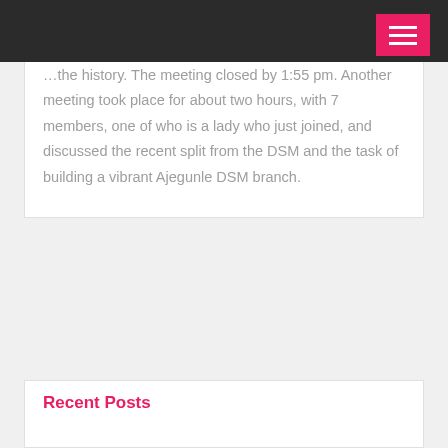[navigation bar with hamburger menu]
…the history. The meeting closed by 1:55 pm. Another meeting took place for about two hours, with 7 members, one of who is a lady who just joined, and discussed the recent split from the DSM and the task of building a vibrant Ajegunle DSM branch.
Recent Posts